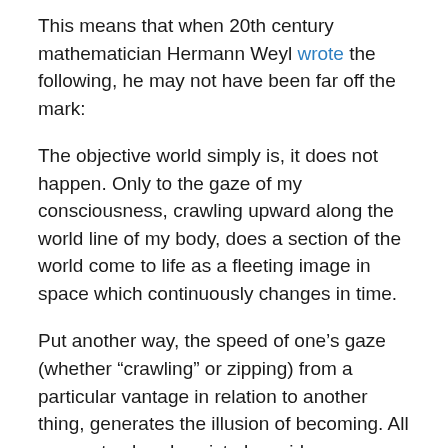This means that when 20th century mathematician Hermann Weyl wrote the following, he may not have been far off the mark:
The objective world simply is, it does not happen. Only to the gaze of my consciousness, crawling upward along the world line of my body, does a section of the world come to life as a fleeting image in space which continuously changes in time.
Put another way, the speed of one's gaze (whether "crawling" or zipping) from a particular vantage in relation to another thing, generates the illusion of becoming. All moments already exist alongside one another as a dimension in space-time. I'm curious to read what Lee Smolin makes of the latest space telescope data, but I can't seem to locate anything by him about this online. I